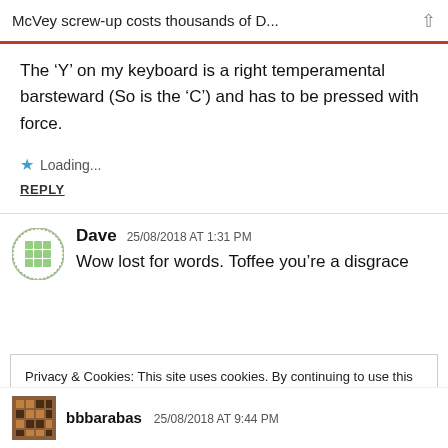McVey screw-up costs thousands of D...
The 'Y' on my keyboard is a right temperamental barsteward (So is the 'C') and has to be pressed with force.
★ Loading...
REPLY
Dave   25/08/2018 AT 1:31 PM
Wow lost for words. Toffee you're a disgrace
Privacy & Cookies: This site uses cookies. By continuing to use this website, you agree to their use.
To find out more, including how to control cookies, see here: Cookie Policy
Close and accept
bbbarabas   25/08/2018 AT 9:44 PM